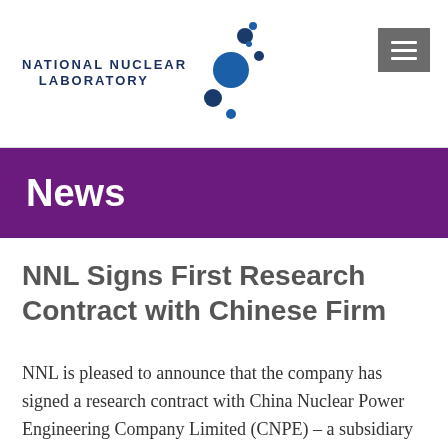NATIONAL NUCLEAR LABORATORY
News
NNL Signs First Research Contract with Chinese Firm
NNL is pleased to announce that the company has signed a research contract with China Nuclear Power Engineering Company Limited (CNPE) – a subsidiary company of China National Nuclear Corporation (CNNC).  The contract is NNL's first with a Chinese company and follows several visits over